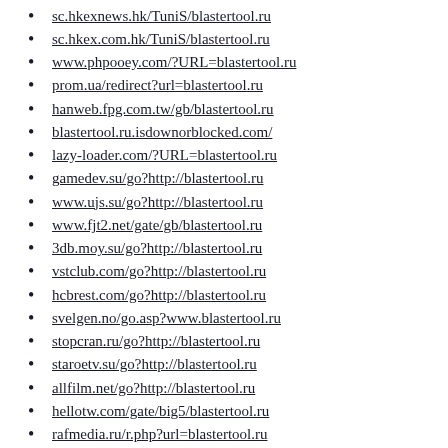sc.hkexnews.hk/TuniS/blastertool.ru
sc.hkex.com.hk/TuniS/blastertool.ru
www.phpooey.com/?URL=blastertool.ru
prom.ua/redirect?url=blastertool.ru
hanweb.fpg.com.tw/gb/blastertool.ru
blastertool.ru.isdownorblocked.com/
lazy-loader.com/?URL=blastertool.ru
gamedev.su/go?http://blastertool.ru
www.ujs.su/go?http://blastertool.ru
www.fjt2.net/gate/gb/blastertool.ru
3db.moy.su/go?http://blastertool.ru
vstclub.com/go?http://blastertool.ru
hcbrest.com/go?http://blastertool.ru
svelgen.no/go.asp?www.blastertool.ru
stopcran.ru/go?http://blastertool.ru
staroetv.su/go?http://blastertool.ru
allfilm.net/go?http://blastertool.ru
hellotw.com/gate/big5/blastertool.ru
rafmedia.ru/r.php?url=blastertool.ru